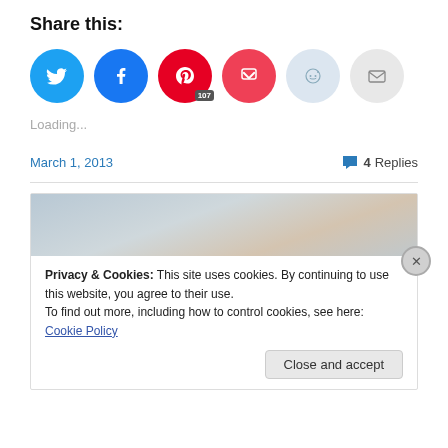Share this:
[Figure (infographic): Social sharing icons: Twitter (blue), Facebook (blue), Pinterest (red with badge 107), Pocket (red), Reddit (light blue), Email (gray)]
Loading...
March 1, 2013   💬 4 Replies
Privacy & Cookies: This site uses cookies. By continuing to use this website, you agree to their use.
To find out more, including how to control cookies, see here: Cookie Policy
Close and accept